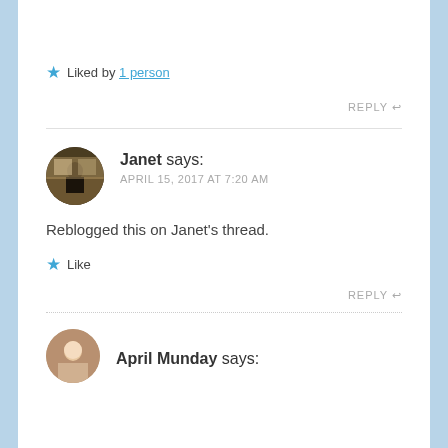★ Liked by 1 person
REPLY ↩
[Figure (photo): Circular avatar photo of a person seated at a table in what appears to be a formal room]
Janet says: APRIL 15, 2017 AT 7:20 AM
Reblogged this on Janet's thread.
★ Like
REPLY ↩
[Figure (photo): Circular avatar photo of April Munday]
April Munday says: